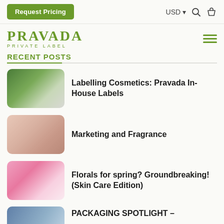Request Pricing | USD | Search | Bag
[Figure (logo): Pravada Private Label logo in olive green]
RECENT POSTS
Labelling Cosmetics: Pravada In-House Labels
Marketing and Fragrance
Florals for spring? Groundbreaking! (Skin Care Edition)
PACKAGING SPOTLIGHT –